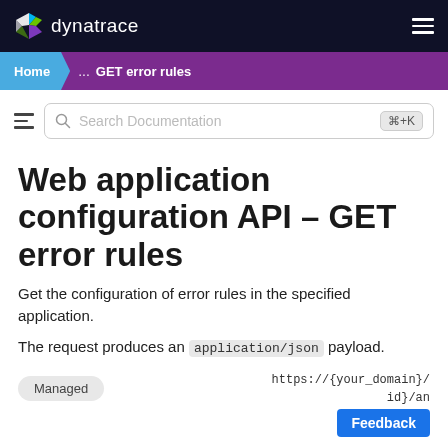dynatrace
Home > ... > GET error rules
Web application configuration API – GET error rules
Get the configuration of error rules in the specified application.
The request produces an application/json payload.
Managed   https://{your-domain}/id/an...